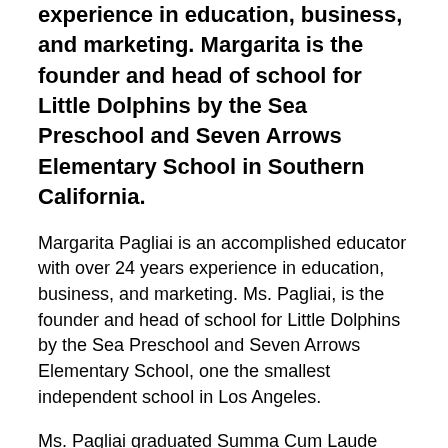experience in education, business, and marketing. Margarita is the founder and head of school for Little Dolphins by the Sea Preschool and Seven Arrows Elementary School in Southern California.
Margarita Pagliai is an accomplished educator with over 24 years experience in education, business, and marketing. Ms. Pagliai, is the founder and head of school for Little Dolphins by the Sea Preschool and Seven Arrows Elementary School, one the smallest independent school in Los Angeles.
Ms. Pagliai graduated Summa Cum Laude from UCLA with a bachelor's in Liberal Arts. Prior to that, she studied in Montreux, Switzerland,